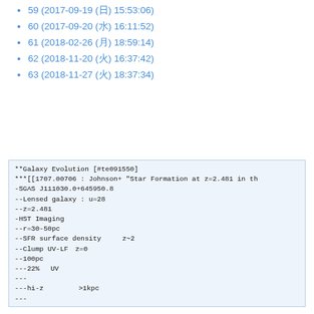59 (2017-09-19 (火) 15:53:06)
60 (2017-09-20 (水) 16:11:52)
61 (2018-02-26 (月) 18:59:14)
62 (2018-11-20 (火) 16:37:42)
63 (2018-11-27 (火) 18:37:34)
**Galaxy Evolution [#te091550]
***[[1707.00706 : Johnson+ "Star Formation at z=2.481 in th
-SGAS J111030.0+645950.8
--Lensed galaxy : u=28
--z=2.481
-HST Imaging
--r=30-50pc（多数のclumpが見える）
--SFR surface density（z~2の銀河と同じくらい）
--Clump UV-LF（z=0と同じ）
--100pc（クランプサイズ）
---22%（UV光度の割合）
---（クランプあたりの星形成率は）
---hi-z（クランプよりも>1kpcクランプの光度が高い）
---（クランプサイズは）

***[[1707.00704 : Rigby+ "Star Formation at z=2.481 in the
-SGAS J111030.0+645950.8
-rest-frame UV（スペクトル）
--（24個の発光線を検出）r=30-50pc（スケールで）7kc（まで）
--（ガス運動学は）
--（銀河全体のUVスペクトルは）exponential disk（に対応）
-（銀河全体の形態は）
--（銀河中心の有効半径）r=1.9~2.7kpc exponential disk（に一致）